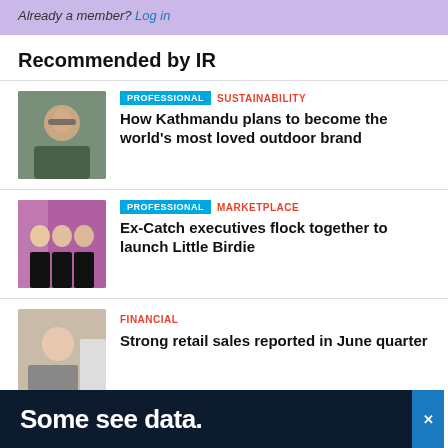Already a member? Log in
Recommended by IR
[Figure (photo): Smiling man wearing glasses and a dark green hoodie outdoors]
PROFESSIONAL | SUSTAINABILITY — How Kathmandu plans to become the world's most loved outdoor brand
[Figure (photo): Group of people in black branded t-shirts standing together]
PROFESSIONAL | MARKETPLACE — Ex-Catch executives flock together to launch Little Birdie
[Figure (photo): Person in retail/shopping environment]
FINANCIAL — Strong retail sales reported in June quarter
[Figure (photo): Advertisement banner: Some see data.]